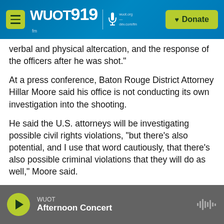WUOT 91.9 | wuot.org | Donate
verbal and physical altercation, and the response of the officers after he was shot."
At a press conference, Baton Rouge District Attorney Hillar Moore said his office is not conducting its own investigation into the shooting.
He said the U.S. attorneys will be investigating possible civil rights violations, "but there's also potential, and I use that word cautiously, that there's also possible criminal violations that they will do as well," Moore said.
WUOT | Afternoon Concert